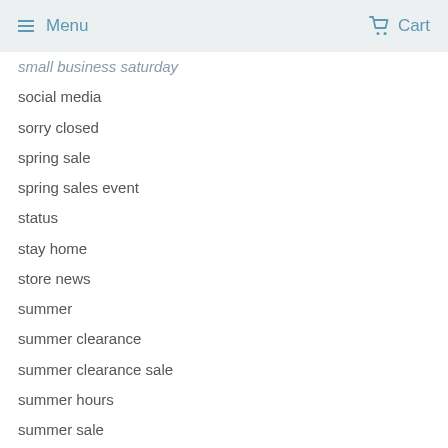Menu  Cart
small business saturday
social media
sorry closed
spring sale
spring sales event
status
stay home
store news
summer
summer clearance
summer clearance sale
summer hours
summer sale
tax free
texas retail
texas tax free weekend